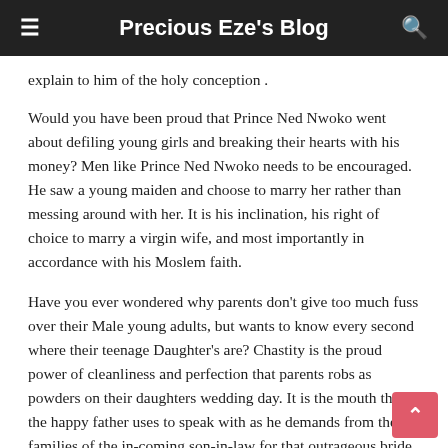Precious Eze's Blog
explain to him of the holy conception .
Would you have been proud that Prince Ned Nwoko went about defiling young girls and breaking their hearts with his money? Men like Prince Ned Nwoko needs to be encouraged. He saw a young maiden and choose to marry her rather than messing around with her. It is his inclination, his right of choice to marry a virgin wife, and most importantly in accordance with his Moslem faith.
Have you ever wondered why parents don't give too much fuss over their Male young adults, but wants to know every second where their teenage Daughter's are? Chastity is the proud power of cleanliness and perfection that parents robs as powders on their daughters wedding day. It is the mouth that the happy father uses to speak with as he demands from the families of the in-coming son-in-law for that outrageous bride price.